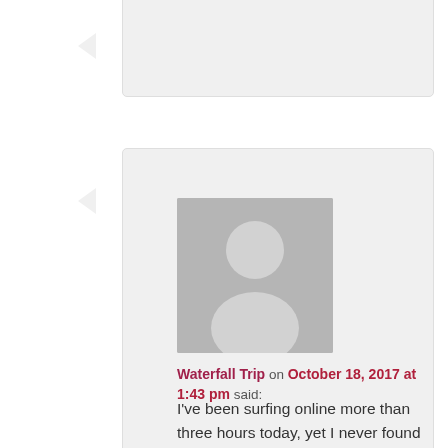[partial comment block at top, clipped]
Waterfall Trip on October 18, 2017 at 1:43 pm said: I've been surfing online more than three hours today, yet I never found any interesting article like yours. It is pretty worth enough for me. In my view, if all website owners and bloggers made good content as you did, the net will be a lot more useful than ever before.
[Figure (illustration): Gray placeholder avatar silhouette for second partial comment block at bottom]